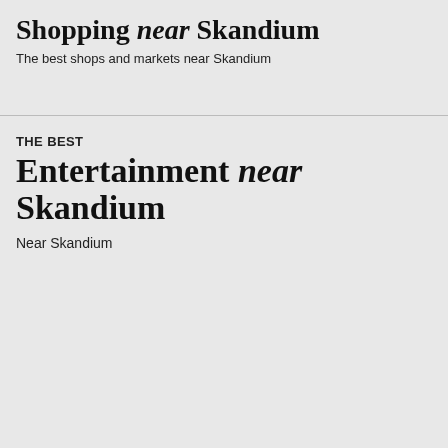Shopping near Skandium
The best shops and markets near Skandium
THE BEST
Entertainment near Skandium
Near Skandium